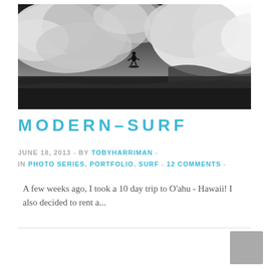[Figure (photo): Black and white dramatic surfing photo — a lone surfer rides a massive wave beneath stormy billowing clouds. The scene is high-contrast monochrome with turbulent sky and ocean.]
MODERN–SURF
JUNE 18, 2013  -  BY TOBYHARRIMAN  -  IN PHOTO SERIES, PORTFOLIO, SURF  -  12 COMMENTS  -
A few weeks ago, I took a 10 day trip to O'ahu - Hawaii! I also decided to rent a...